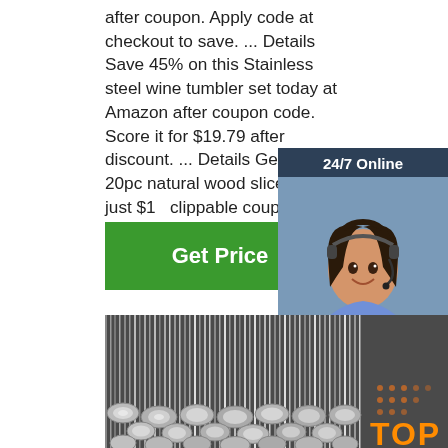after coupon. Apply code at checkout to save. ... Details Save 45% on this Stainless steel wine tumbler set today at Amazon after coupon code. Score it for $19.79 after discount. ... Details Get this 20pc natural wood slices for just $10 clippable coupon and promo ...
[Figure (other): Green 'Get Price' button]
[Figure (other): 24/7 Online chat widget with woman wearing headset, 'Click here for free chat!' text, and orange QUOTATION button]
[Figure (photo): Stack of stainless steel round rods/bars shown from the end, with a TOP badge in the bottom right corner]